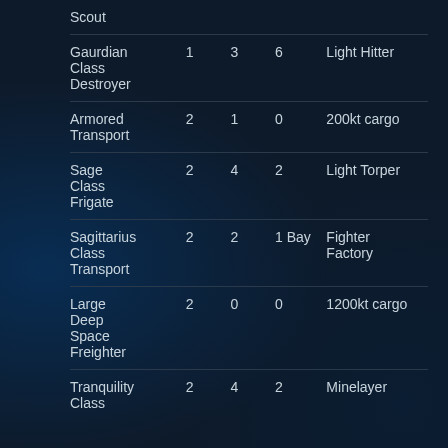| Ship | Col2 | Col3 | Col4 | Special |
| --- | --- | --- | --- | --- |
| Scout |  |  |  |  |
| Gaurdian Class Destroyer | 1 | 3 | 6 | Light Hitter |
| Armored Transport | 2 | 1 | 0 | 200kt cargo |
| Sage Class Frigate | 2 | 4 | 2 | Light Torper |
| Sagittarius Class Transport | 2 | 2 | 1 Bay | Fighter Factory |
| Large Deep Space Freighter | 2 | 0 | 0 | 1200kt cargo |
| Tranquility Class | 2 | 4 | 2 | Minelayer |